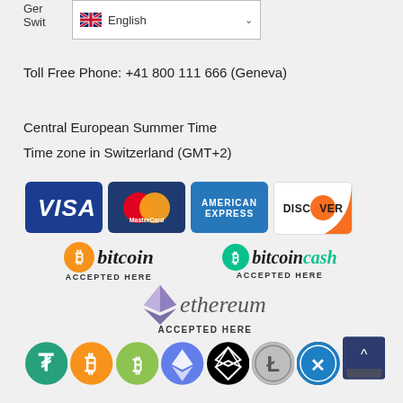Ger
Swit
[Figure (screenshot): English language dropdown selector with UK flag]
Toll Free Phone: +41 800 111 666 (Geneva)
Central European Summer Time
Time zone in Switzerland (GMT+2)
[Figure (infographic): Payment method logos: VISA, MasterCard, American Express, Discover, Bitcoin Accepted Here, Bitcoin Cash Accepted Here, Ethereum Accepted Here, and cryptocurrency coin icons (Tether, Bitcoin, Bitcoin Cash, Ethereum, EOS, Litecoin, Ripple, e-mint)]